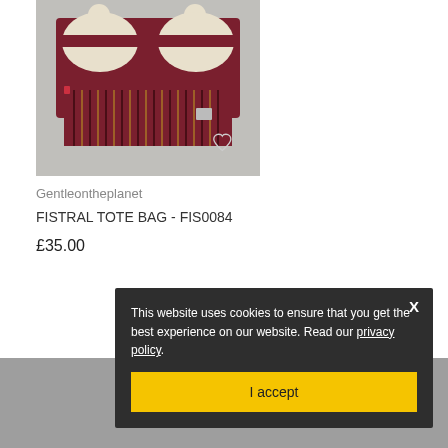[Figure (photo): A burgundy/red Fistral tote bag with cream straps and striped pattern lower section, displayed hanging against a light background. A heart/wishlist icon is shown in the bottom right corner of the image.]
Gentleontheplanet
FISTRAL TOTE BAG - FIS0084
£35.00
This website uses cookies to ensure that you get the best experience on our website. Read our privacy policy.
I accept